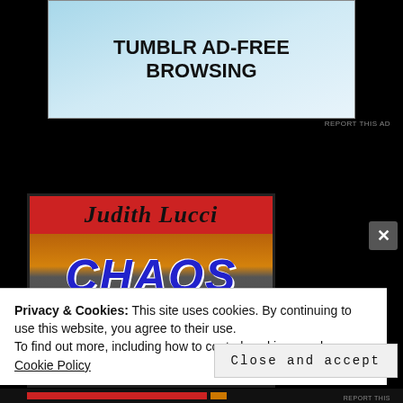[Figure (screenshot): Tumblr ad-free browsing banner advertisement with blue/light background]
REPORT THIS AD
[Figure (illustration): Book cover for 'Judith Lucci - CHAOS at CRESCENT CITY' with red author bar, city skyline background with fire, blue bold CHAOS text, and red CRESCENT CITY text]
Privacy & Cookies: This site uses cookies. By continuing to use this website, you agree to their use.
To find out more, including how to control cookies, see here: Cookie Policy
Close and accept